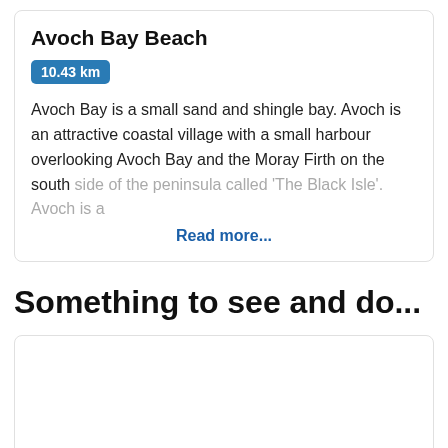Avoch Bay Beach
10.43 km
Avoch Bay is a small sand and shingle bay. Avoch is an attractive coastal village with a small harbour overlooking Avoch Bay and the Moray Firth on the south side of the peninsula called 'The Black Isle'. Avoch is a
Read more...
Something to see and do...